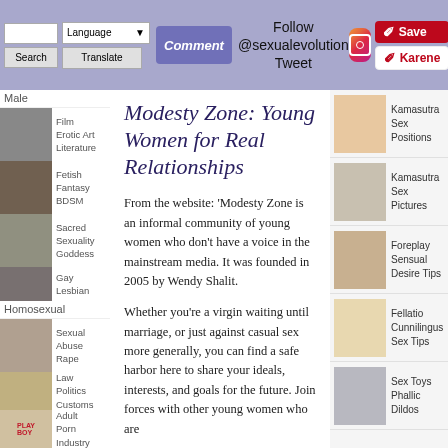Follow @sexualevolution Tweet | Language | Translate | Comment | Save | Karene
Film Erotic Art Literature
Fetish Fantasy BDSM
Sacred Sexuality Goddess
Gay Lesbian
Homosexual
Sexual Abuse Rape
Law Politics Customs
Adult Porn Industry
Sexual Statistics Information
Slang Etymology Language
Modesty Zone: Young Women for Real Relationships
From the website: 'Modesty Zone is an informal community of young women who don’t have a voice in the mainstream media. It was founded in 2005 by Wendy Shalit.
Whether you’re a virgin waiting until marriage, or just against casual sex more generally, you can find a safe harbor here to share your ideals, interests, and goals for the future. Join forces with other young women who are
Kamasutra Sex Positions
Kamasutra Sex Pictures
Foreplay Sensual Desire Tips
Fellatio Cunnilingus Sex Tips
Sex Toys Phallic Dildos